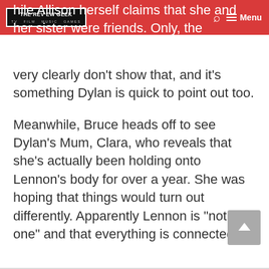THE REVIEW GEEK | TV FILM MUSIC GAMES
while Allison herself claims that she and her sister were friends. Only, the flashbacks we've seen very clearly don't show that, and it's something Dylan is quick to point out too.
Meanwhile, Bruce heads off to see Dylan's Mum, Clara, who reveals that she's actually been holding onto Lennon's body for over a year. She was hoping that things would turn out differently. Apparently Lennon is “not the one” and that everything is connected.